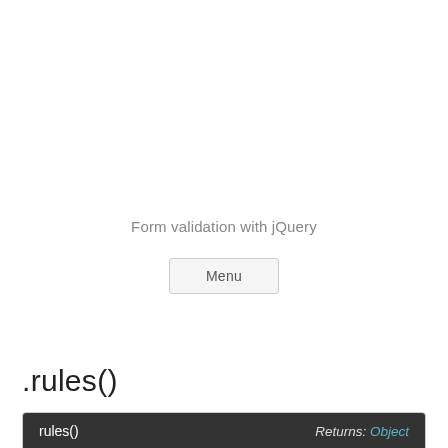Form validation with jQuery
Menu
.rules()
| rules() | Returns: Object |
| --- | --- |
| Description: Read, add and remove rules for an element. |  |